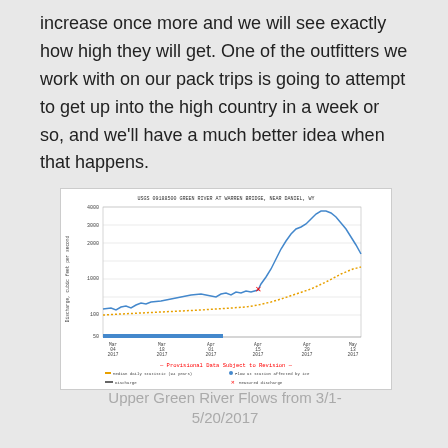increase once more and we will see exactly how high they will get. One of the outfitters we work with on our pack trips is going to attempt to get up into the high country in a week or so, and we'll have a much better idea when that happens.
[Figure (continuous-plot): Line chart showing Upper Green River discharge (cubic feet per second) from March 4 to May 13, 2017. Two lines: orange dotted line (median daily statistic, 94 years) trending gradually upward from ~100 to ~1000 cfs; blue solid line (discharge/flow at station affected by ice) rising steeply from ~300 to a peak near ~3800 cfs in early May. A red X marks measured discharge around April 15. A blue horizontal bar at the bottom marks ice-affected period. Legend shows: median daily statistic, discharge, flow at station affected by ice, measured discharge. Banner reads: Provisional Data Subject to Revision.]
Upper Green River Flows from 3/1-5/20/2017